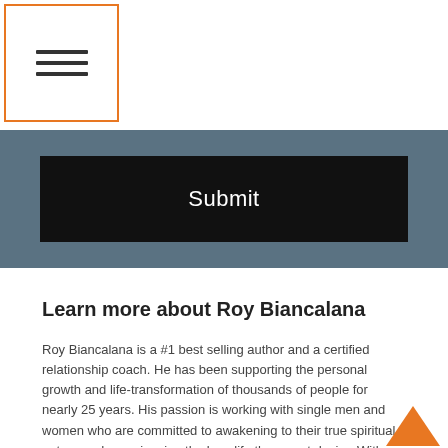☰ (hamburger menu icon with orange border)
[Figure (screenshot): Black Submit button on a dark slate-blue background bar]
Learn more about Roy Biancalana
Roy Biancalana is a #1 best selling author and a certified relationship coach. He has been supporting the personal growth and life-transformation of thousands of people for nearly 25 years. His passion is working with single men and women who are committed to awakening to their true spiritual nature and experiencing the love life they most desire. With a warm, personal and informal style, Roy specializes in supporting single people in attracting the love of their lives and also helping those who are in committed partnerships experience a deeper level of intimacy. READ MORE CoachingwithRoy.com works on all devices.